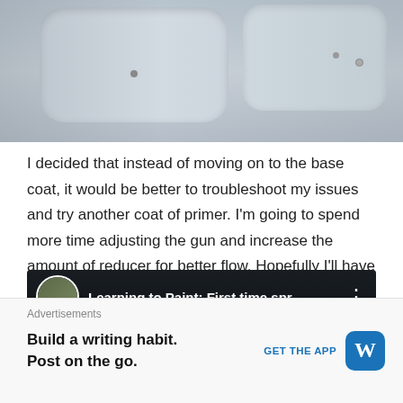[Figure (photo): Close-up photo of white plastic light fixtures or trays on a gray surface]
I decided that instead of moving on to the base coat, it would be better to troubleshoot my issues and try another coat of primer. I'm going to spend more time adjusting the gun and increase the amount of reducer for better flow. Hopefully I'll have time for attempt number two before the weekend is over.
[Figure (screenshot): YouTube video thumbnail showing a video titled 'Learning to Paint: First time spr...' with a user avatar and three-dot menu icon]
Advertisements
Build a writing habit. Post on the go.
GET THE APP